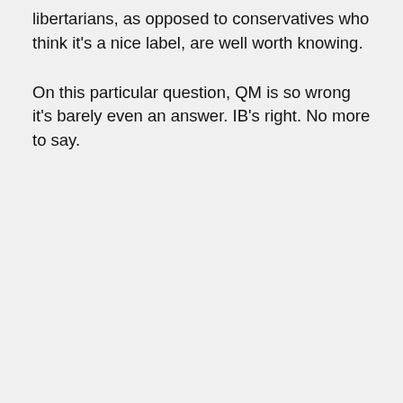libertarians, as opposed to conservatives who think it's a nice label, are well worth knowing.
On this particular question, QM is so wrong it's barely even an answer. IB's right. No more to say.